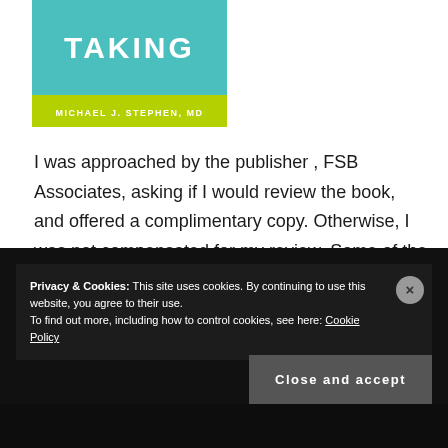[Figure (illustration): Book cover with teal background showing title 'TAKING' in white bold text, and author name 'MICHAEL J. STEPHEN, MD' in white text on a yellow-green bar at the bottom]
I was approached by the publisher, FSB Associates, asking if I would review the book, and offered a complimentary copy. Otherwise, I was not compensated for my review. Some of the links in this post are affiliate links which may help support this blog financially.
Privacy & Cookies: This site uses cookies. By continuing to use this website, you agree to their use.
To find out more, including how to control cookies, see here: Cookie Policy
Close and accept